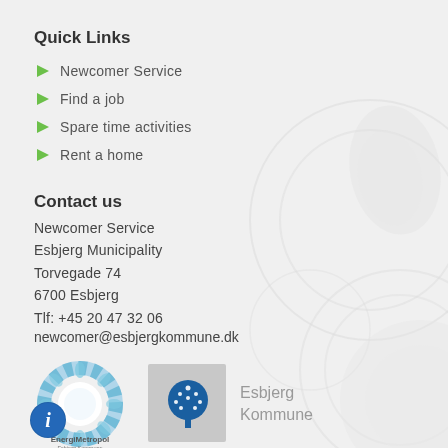Quick Links
Newcomer Service
Find a job
Spare time activities
Rent a home
Contact us
Newcomer Service
Esbjerg Municipality
Torvegade 74
6700 Esbjerg
Tlf: +45 20 47 32 06
newcomer@esbjergkommune.dk
[Figure (logo): EnergiMetropol Esbjerg Kommune circular blue logo]
[Figure (logo): Esbjerg Kommune official municipality logo with tree emblem and text]